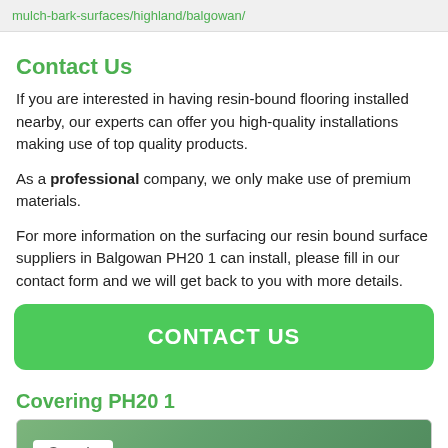mulch-bark-surfaces/highland/balgowan/
Contact Us
If you are interested in having resin-bound flooring installed nearby, our experts can offer you high-quality installations making use of top quality products.
As a professional company, we only make use of premium materials.
For more information on the surfacing our resin bound surface suppliers in Balgowan PH20 1 can install, please fill in our contact form and we will get back to you with more details.
[Figure (other): Green CONTACT US button]
Covering PH20 1
[Figure (map): Google map showing PH20 1 area with Google logo visible]